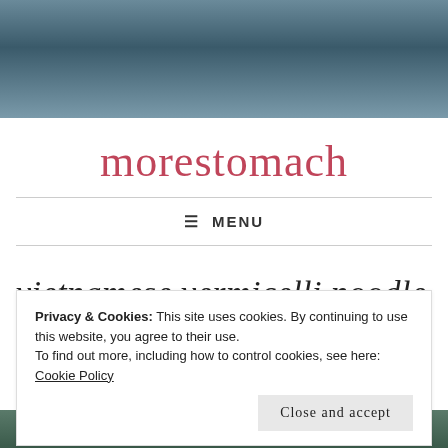[Figure (photo): A muted blue-grey gradient header image, resembling a sky or water scene.]
morestomach
≡ MENU
vietnamese vermicelli noodle
Privacy & Cookies: This site uses cookies. By continuing to use this website, you agree to their use.
To find out more, including how to control cookies, see here:
Cookie Policy
Close and accept